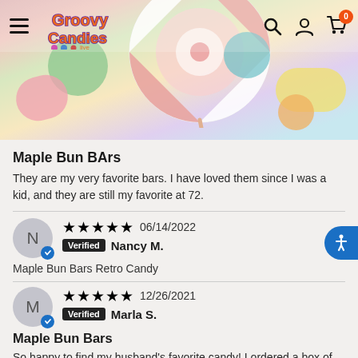[Figure (screenshot): Groovy Candies website header with colorful candy background image, navigation bar with hamburger menu, logo, search, account, and cart icons]
Maple Bun BArs
They are my very favorite bars. I have loved them since I was a kid, and they are still my favorite at 72.
★★★★★ 06/14/2022 Verified Nancy M.
Maple Bun Bars Retro Candy
★★★★★ 12/26/2021 Verified Marla S.
Maple Bun Bars
So happy to find my husband's favorite candy! I ordered a box of 24 to give him for his birthday, Dec. 26th. The candy came very quickly. He couldn't wait for his birthday and has been eating about 1 a day since we received them. Thank you for this